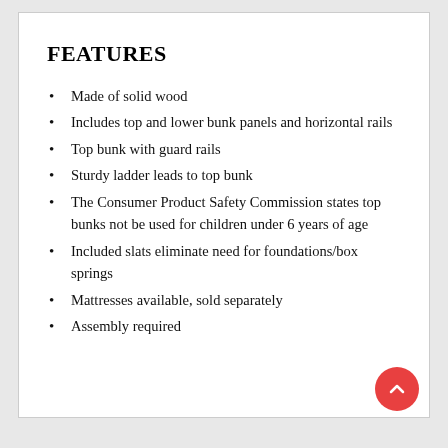FEATURES
Made of solid wood
Includes top and lower bunk panels and horizontal rails
Top bunk with guard rails
Sturdy ladder leads to top bunk
The Consumer Product Safety Commission states top bunks not be used for children under 6 years of age
Included slats eliminate need for foundations/box springs
Mattresses available, sold separately
Assembly required